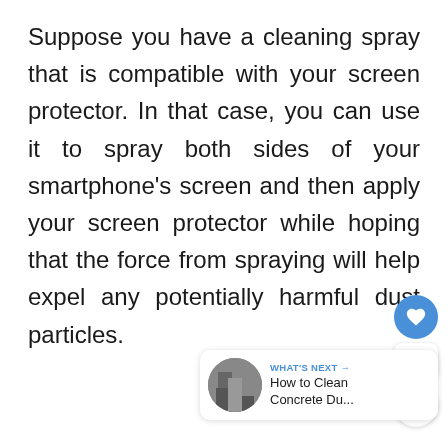Suppose you have a cleaning spray that is compatible with your screen protector. In that case, you can use it to spray both sides of your smartphone's screen and then apply your screen protector while hoping that the force from spraying will help expel any potentially harmful dust particles.
[Figure (screenshot): UI widget panel showing a heart/like button (blue circle), a count of 1, and a share button (white circle with blue share icon); below it a 'What's Next' card showing a thumbnail and title 'How to Clean Concrete Du...']